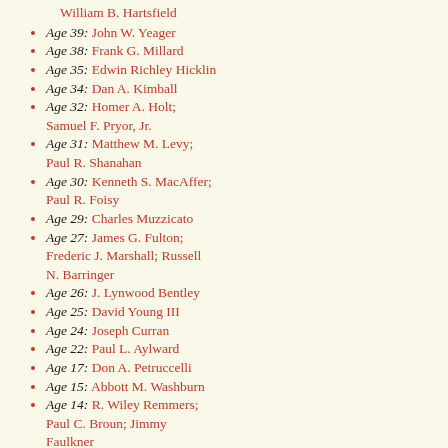William B. Hartsfield
Age 39: John W. Yeager
Age 38: Frank G. Millard
Age 35: Edwin Richley Hicklin
Age 34: Dan A. Kimball
Age 32: Homer A. Holt; Samuel F. Pryor, Jr.
Age 31: Matthew M. Levy; Paul R. Shanahan
Age 30: Kenneth S. MacAffer; Paul R. Foisy
Age 29: Charles Muzzicato
Age 27: James G. Fulton; Frederic J. Marshall; Russell N. Barringer
Age 26: J. Lynwood Bentley
Age 25: David Young III
Age 24: Joseph Curran
Age 22: Paul L. Aylward
Age 17: Don A. Petruccelli
Age 15: Abbott M. Washburn
Age 14: R. Wiley Remmers; Paul C. Broun; Jimmy Faulkner
Age 12: Gladys Noon